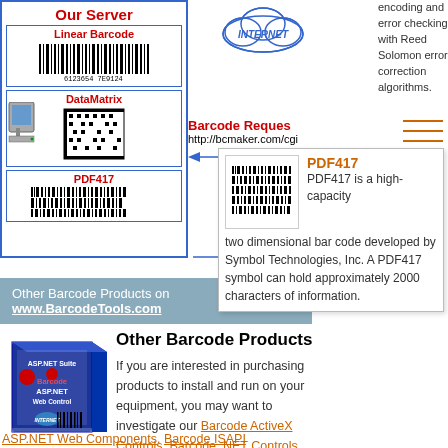[Figure (illustration): Server diagram showing Our Server with Linear Barcode, DataMatrix, and PDF417 barcode types in a blue-bordered box]
[Figure (illustration): Internet cloud graphic with INTERNET text in blue italic]
Barcode Request
http://bcmaker.com/cgi
[Figure (illustration): PDF417 barcode popup showing barcode image thumbnail, PDF417 title in orange, and description: PDF417 is a high-capacity two dimensional bar code developed by Symbol Technologies, Inc. A PDF417 symbol can hold approximately 2000 characters of information.]
encoding and error checking with Reed Solomon error correction algorithms.
Barcode Response
barcode image
Other Barcode Products on www.BarcodeTools.com
[Figure (illustration): ASP.NET Suite Barcode ASP.NET Web Control product box image]
Other Barcode Products
If you are interested in purchasing products to install and run on your equipment, you may want to investigate our Barcode ActiveX Controls, Barcode .NET Controls, ASP.NET Web Components, Barcode ISAPI